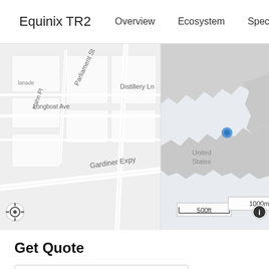Equinix TR2   Overview   Ecosystem   Specifi
[Figure (map): Street-level map of Toronto area (left panel) showing Distillery Ln, Parliament St, Hahn Pl, Longboat Ave, Gardiner Expy, with 500ft scale bar. Regional map (right panel) showing northeastern North America with a blue dot marker near Toronto/Great Lakes area, with 1000mi scale bar.]
Get Quote